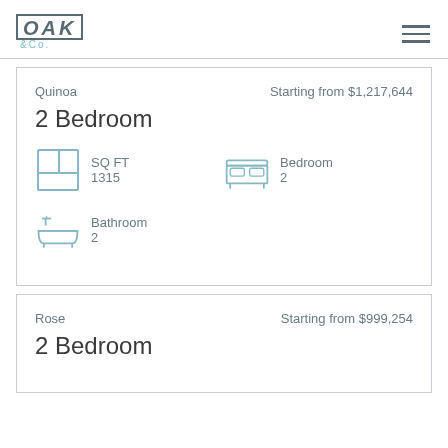[Figure (logo): Oak & Co. logo with hamburger menu icon]
Quinoa  Starting from $1,217,644
2 Bedroom
SQ FT 1315
Bedroom 2
Bathroom 2
Rose  Starting from $999,254
2 Bedroom